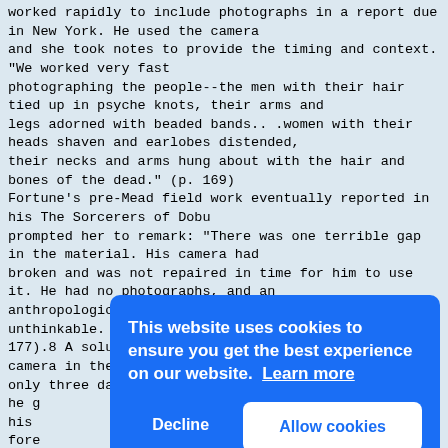worked rapidly to include photographs in a report due in New York. He used the camera and she took notes to provide the timing and context. "We worked very fast photographing the people--the men with their hair tied up in psyche knots, their arms and legs adorned with beaded bands.. .women with their heads shaven and earlobes distended, their necks and arms hung about with the hair and bones of the dead." (p. 169) Fortune's pre-Mead field work eventually reported in his The Sorcerers of Dobu prompted her to remark: "There was one terrible gap in the material. His camera had broken and was not repaired in time for him to use it. He had no photographs, and an anthropological book without photographs was almost unthinkable. What to do?" (p. 177).8 A solution was found. Fortune found another camera in the hold of a ship. With only three days of sun during his six weeks in Dobu, he g his fore phot husb Char stan inno pict The profile on Mead, authored by Renée Fox, states that "Mead pioneered in the use of
[Figure (other): Cookie consent overlay popup with blue background. Text reads: 'This website uses cookies to ensure you get the best experience on our website. Learn more' with two buttons: 'Decline' and 'Allow cookies'.]